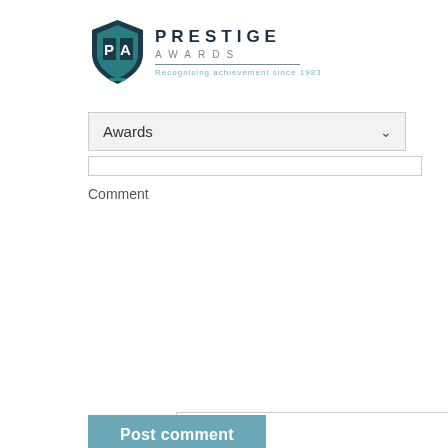[Figure (logo): Prestige Awards logo with shield icon. Shield is teal/dark blue with 'PA' letters. Text reads 'PRESTIGE' in bold dark navy, 'AWARDS' in grey spaced letters, with tagline 'Recognising achievement since 1983']
Awards
Comment
Post comment